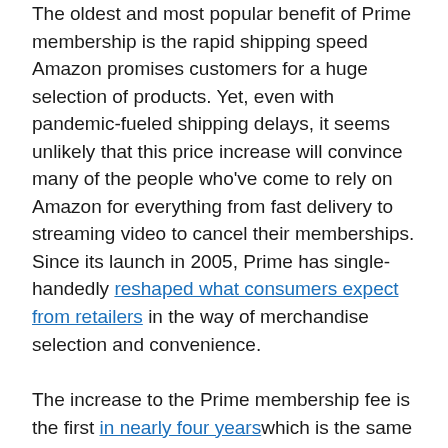The oldest and most popular benefit of Prime membership is the rapid shipping speed Amazon promises customers for a huge selection of products. Yet, even with pandemic-fueled shipping delays, it seems unlikely that this price increase will convince many of the people who've come to rely on Amazon for everything from fast delivery to streaming video to cancel their memberships. Since its launch in 2005, Prime has single-handedly reshaped what consumers expect from retailers in the way of merchandise selection and convenience.
The increase to the Prime membership fee is the first in nearly four years which is the same interval at which Amazon has instituted its last two Prime price increases.
“We’re not where we want to be,” Amazon Chief Financial Officer Brian Olsavsky said on a call with reporters on